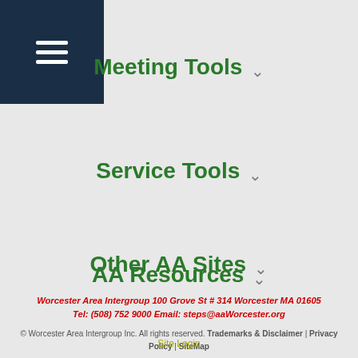[Figure (other): Hamburger menu icon (three horizontal white lines) on dark navy/teal background]
Meeting Tools
Service Tools
AA Resources
Other AA Sites
Worcester Area Intergroup 100 Grove St # 314 Worcester MA 01605 Tel: (508) 752 9000 Email: steps@aaWorcester.org
© Worcester Area Intergroup Inc. All rights reserved. Trademarks & Disclaimer | Privacy Policy | SiteMap
Site Login